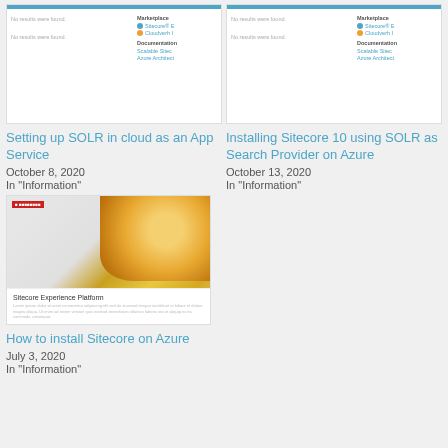[Figure (screenshot): Screenshot thumbnail of a search results page showing Marketplace and Documentation sections with no results found]
Setting up SOLR in cloud as an App Service
October 8, 2020
In "Information"
[Figure (screenshot): Screenshot thumbnail of a search results page showing Marketplace and Documentation sections with no results found]
Installing Sitecore 10 using SOLR as Search Provider on Azure
October 13, 2020
In "Information"
[Figure (screenshot): Thumbnail showing Sitecore Experience Platform document page with a photo of a person using a tablet]
How to install Sitecore on Azure
July 3, 2020
In "Information"